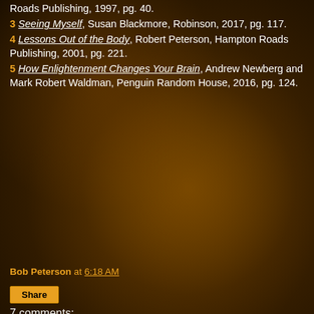Roads Publishing, 1997, pg. 40.
3 Seeing Myself, Susan Blackmore, Robinson, 2017, pg. 117.
4 Lessons Out of the Body, Robert Peterson, Hampton Roads Publishing, 2001, pg. 221.
5 How Enlightenment Changes Your Brain, Andrew Newberg and Mark Robert Waldman, Penguin Random House, 2016, pg. 124.
Bob Peterson at 6:18 AM
Share
7 comments:
Jörg Starkmuth January 22, 2019 at 9:46 AM
Hi Bob, thank you very much for sharing this. If you are interested in having your upcoming book published in German, you might want to consider circumventing any US